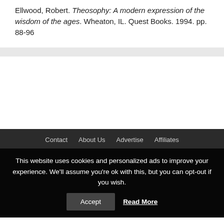Ellwood, Robert. Theosophy: A modern expression of the wisdom of the ages. Wheaton, IL. Quest Books. 1994. pp. 88-96
Contact  About Us  Advertise  Affiliates
This website uses cookies and personalized ads to improve your experience. We'll assume you're ok with this, but you can opt-out if you wish.  Accept  Read More